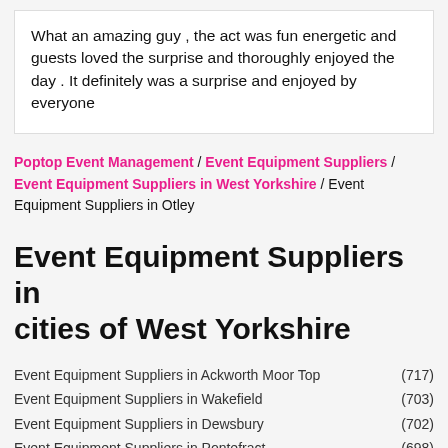What an amazing guy , the act was fun energetic and guests loved the surprise and thoroughly enjoyed the day . It definitely was a surprise and enjoyed by everyone
Poptop Event Management / Event Equipment Suppliers / Event Equipment Suppliers in West Yorkshire / Event Equipment Suppliers in Otley
Event Equipment Suppliers in cities of West Yorkshire
Event Equipment Suppliers in Ackworth Moor Top (717)
Event Equipment Suppliers in Wakefield (703)
Event Equipment Suppliers in Dewsbury (702)
Event Equipment Suppliers in Pontefract (698)
Event Equipment Suppliers in Halifax (693)
Event Equipment Suppliers in Leeds (679)
Event Equipment Suppliers in Bingley (671)
Event Equipment Suppliers in Burley in Wharfedale (665)